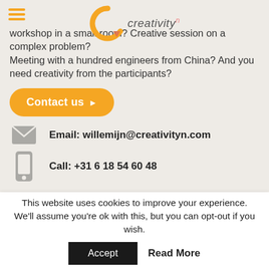[Figure (logo): Creativity n logo with orange C arc and play button icon, with hamburger menu icon in orange on the left]
workshop in a small room? Creative session on a complex problem?
Meeting with a hundred engineers from China? And you need creativity from the participants?
Contact us ▶
Email: willemijn@creativityn.com
Call: +31 6 18 54 60 48
This website uses cookies to improve your experience. We'll assume you're ok with this, but you can opt-out if you wish.
Accept   Read More